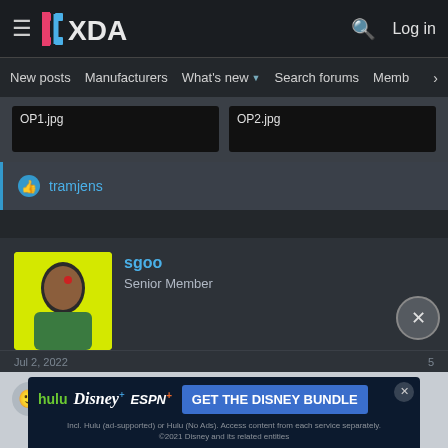XDA — New posts  Manufacturers  What's new  Search forums  Members
[Figure (screenshot): Two image attachment thumbnails labeled OP1.jpg and OP2.jpg on dark background]
tramjens
sgoo
Senior Member
Jul 2, 2022
[Figure (photo): User avatar of sgoo — portrait photo with yellow/green background]
[Figure (screenshot): Disney Bundle advertisement: hulu, Disney+, ESPN+. GET THE DISNEY BUNDLE. Incl. Hulu (ad-supported) or Hulu (No Ads). Access content from each service separately. ©2021 Disney and its related entities]